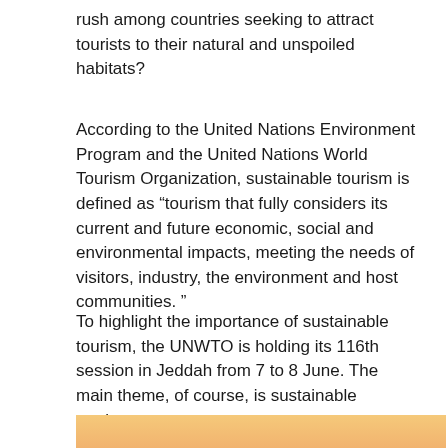rush among countries seeking to attract tourists to their natural and unspoiled habitats?
According to the United Nations Environment Program and the United Nations World Tourism Organization, sustainable tourism is defined as “tourism that fully considers its current and future economic, social and environmental impacts, meeting the needs of visitors, industry, the environment and host communities. ”
To highlight the importance of sustainable tourism, the UNWTO is holding its 116th session in Jeddah from 7 to 8 June. The main theme, of course, is sustainable tourism.
[Figure (photo): Aerial view of a coastal island or archipelago development with lush greenery, water channels, resort structures, and a warm sunset sky in the background.]